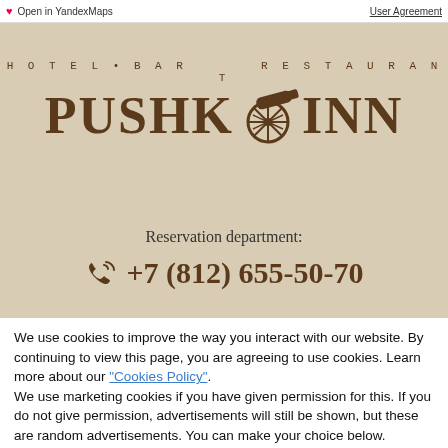Open in YandexMaps   User Agreement
[Figure (logo): Pushkoinn Hotel Bar Restaurant logo with cannon wheel graphic]
Reservation department:
+7 (812) 655-50-70
We use cookies to improve the way you interact with our website. By continuing to view this page, you are agreeing to use cookies. Learn more about our "Cookies Policy". We use marketing cookies if you have given permission for this. If you do not give permission, advertisements will still be shown, but these are random advertisements. You can make your choice below.
Allow marketing cookies (Recommended)
Reject marketing cookies (You will see random ads)
Save and continue